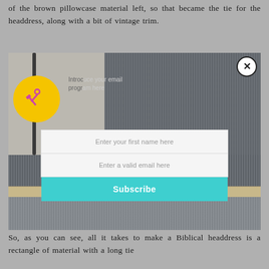of the brown pillowcase material left, so that became the tie for the headdress, along with a bit of vintage trim.
[Figure (photo): A photo of a Biblical headdress construction in progress. Shows dark ribbed fabric material and a stick. Overlaid with a popup showing a yellow circle with crossed hammer/wrench tools icon, partially visible text starting with 'Intro...progr...', two form fields ('Enter your first name here', 'Enter a valid email here'), and a teal Subscribe button. A close (X) button appears top right. The bottom portion shows the headdress beige band and fringe.]
So, as you can see, all it takes to make a Biblical headdress is a rectangle of material with a long tie